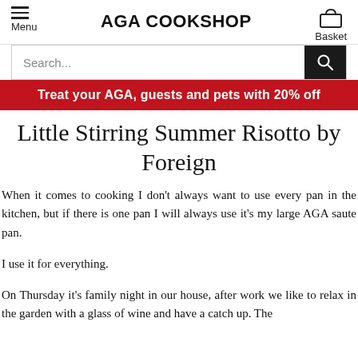AGA COOKSHOP
Treat your AGA, guests and pets with 20% off
Little Stirring Summer Risotto by Foreign
When it comes to cooking I don't always want to use every pan in the kitchen, but if there is one pan I will always use it's my large AGA saute pan.
I use it for everything.
On Thursday it's family night in our house, after work we like to relax in the garden with a glass of wine and have a catch up. The